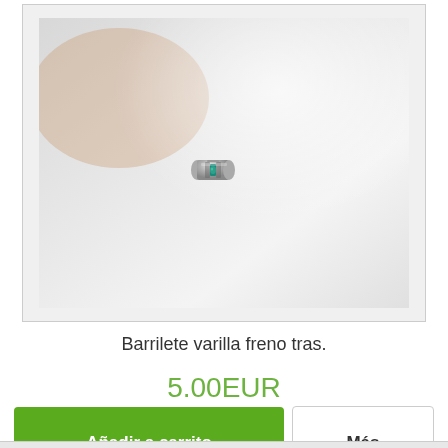[Figure (photo): Product photo of a small metal barrel-shaped brake rod connector (barrilete varilla freno) on a light gray/white surface. The small cylindrical silver metal part has a teal/blue gemstone or plastic piece visible in its center.]
Barrilete varilla freno tras.
5.00EUR